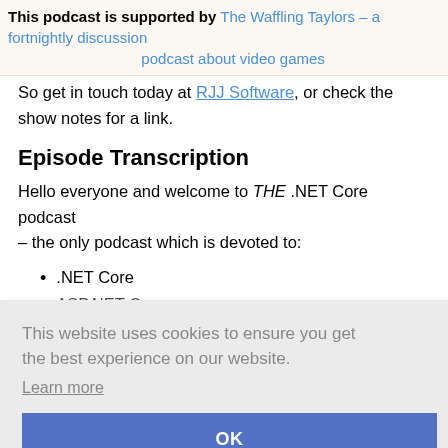This podcast is supported by The Waffling Taylors – a fortnightly discussion podcast about video games
So get in touch today at RJJ Software, or check the show notes for a link.
Episode Transcription
Hello everyone and welcome to THE .NET Core podcast – the only podcast which is devoted to:
.NET Core
ASP.NET C...
This website uses cookies to ensure you get the best experience on our website.
Learn more
OK
is
s to
learn .NET Core, and a little on his history with